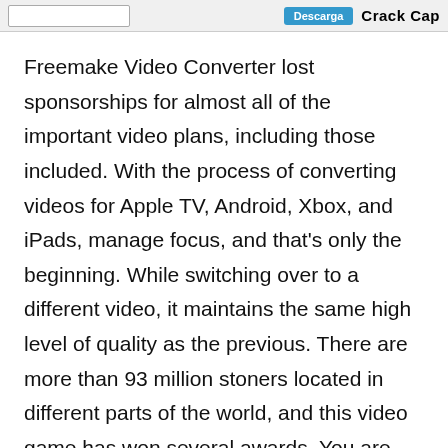Crack Cap
Freemake Video Converter lost sponsorships for almost all of the important video plans, including those included. With the process of converting videos for Apple TV, Android, Xbox, and iPads, manage focus, and that’s only the beginning. While switching over to a different video, it maintains the same high level of quality as the previous. There are more than 93 million stoners located in different parts of the world, and this video game has won several awards. You are granted permission to accomplish much more than just modify if you have the entire interpretation of the Freemake Video Converter break with the journal key. It has complete support for Windows 11, which enables